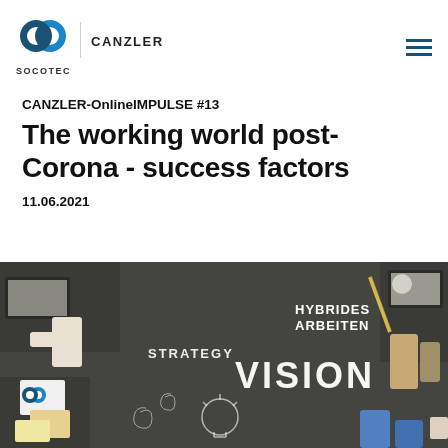[Figure (logo): SOCOTEC Canzler logo with blue circular icon and text]
CANZLER-OnlineIMPULSE #13
The working world post-Corona - success factors
11.06.2021
[Figure (photo): Overhead view of people working around a chalkboard table with words HYBRIDES ARBEITEN, STRATEGY, VISION written on it]